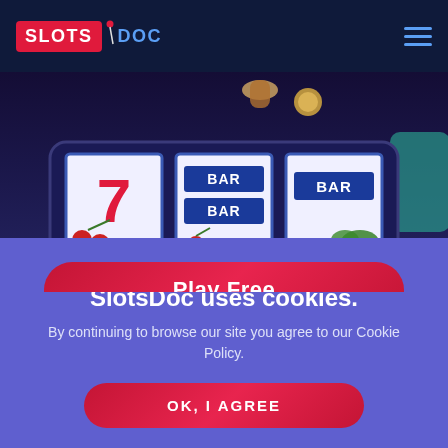SLOTS DOC
[Figure (screenshot): Slot machine with reels showing 7, BAR BAR, BAR symbols on a dark purple background with slot machine frame]
Play Free
SlotsDoc uses cookies.
By continuing to browse our site you agree to our Cookie Policy.
OK, I AGREE